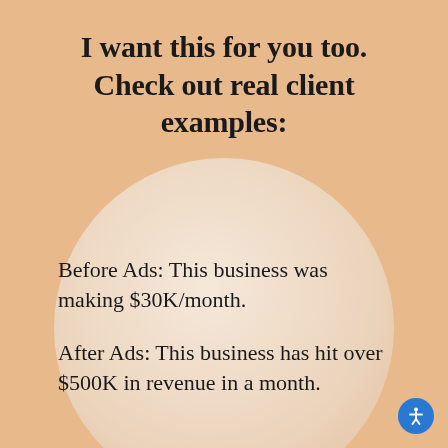I want this for you too. Check out real client examples:
Before Ads: This business was making $30K/month.
After Ads: This business has hit over $500K in revenue in a month.